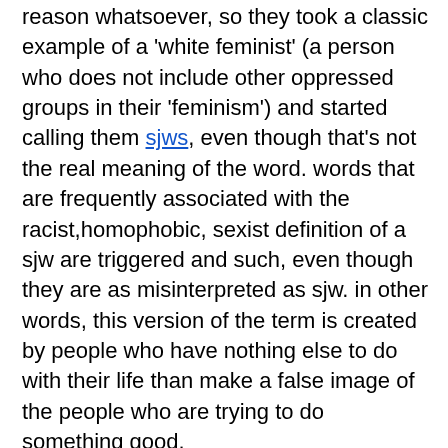reason whatsoever, so they took a classic example of a 'white feminist' (a person who does not include other oppressed groups in their 'feminism') and started calling them sjws, even though that's not the real meaning of the word. words that are frequently associated with the racist,homophobic, sexist definition of a sjw are triggered and such, even though they are as misinterpreted as sjw. in other words, this version of the term is created by people who have nothing else to do with their life than make a false image of the people who are trying to do something good.
someone: lmao i'm not homophobic but honestly gay people are disgusting lol
sjw: pls stop calling people disgusting because they lov-